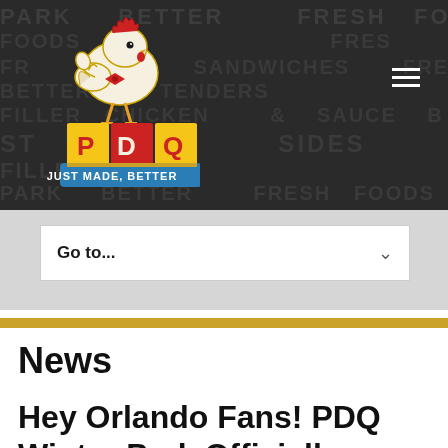[Figure (logo): PDQ restaurant logo with chicken mascot and text 'JUST MADE, BETTER' on dark background with food-related watermark words]
Go to...
News
Hey Orlando Fans! PDQ Winter Park Officially Opens August 19th!